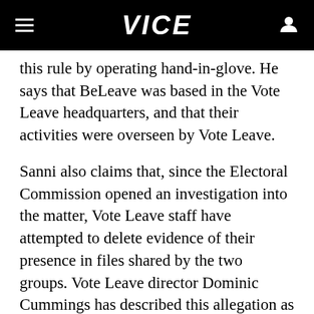VICE
this rule by operating hand-in-glove. He says that BeLeave was based in the Vote Leave headquarters, and that their activities were overseen by Vote Leave.
Sanni also claims that, since the Electoral Commission opened an investigation into the matter, Vote Leave staff have attempted to delete evidence of their presence in files shared by the two groups. Vote Leave director Dominic Cummings has described this allegation as “factually wrong and libelous,” saying that campaign staff acted “ethically, responsibly, and